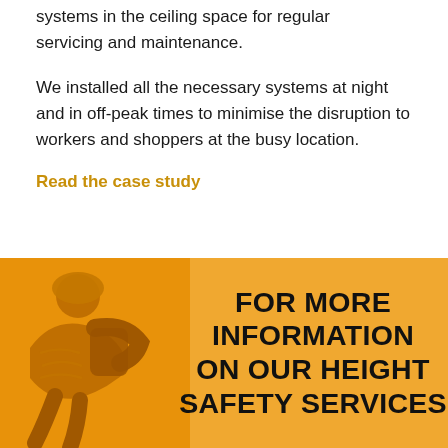systems in the ceiling space for regular servicing and maintenance.
We installed all the necessary systems at night and in off-peak times to minimise the disruption to workers and shoppers at the busy location.
Read the case study
[Figure (photo): Worker in safety gear crouching, shown in orange/amber tinted photo, with large bold text overlay reading FOR MORE INFORMATION ON OUR HEIGHT SAFETY SERVICES on an amber/orange background]
FOR MORE INFORMATION ON OUR HEIGHT SAFETY SERVICES